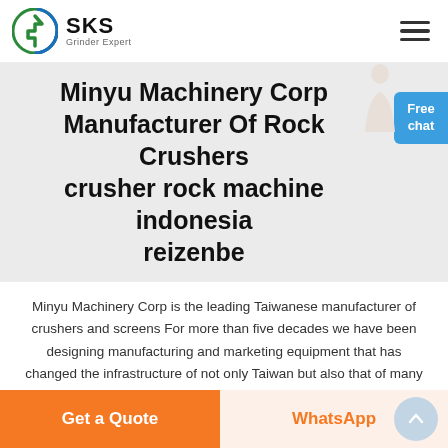SKS Grinder Expert
Minyu Machinery Corp Manufacturer Of Rock Crushers crusher rock machine indonesia reizenbe
Minyu Machinery Corp is the leading Taiwanese manufacturer of crushers and screens For more than five decades we have been designing manufacturing and marketing equipment that has changed the infrastructure of not only Taiwan but also that of many countries around the globe Jaw rock crusher in Indonesia is mainly used for a variety of stones and bulk